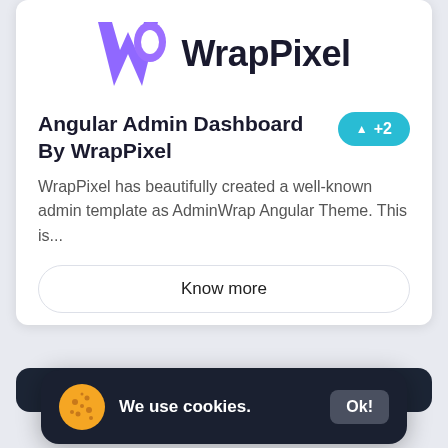[Figure (logo): WrapPixel logo with purple W and P icon and bold WrapPixel text]
Angular Admin Dashboard By WrapPixel
WrapPixel has beautifully created a well-known admin template as AdminWrap Angular Theme. This is...
Know more
Resources
We use cookies.  Ok!